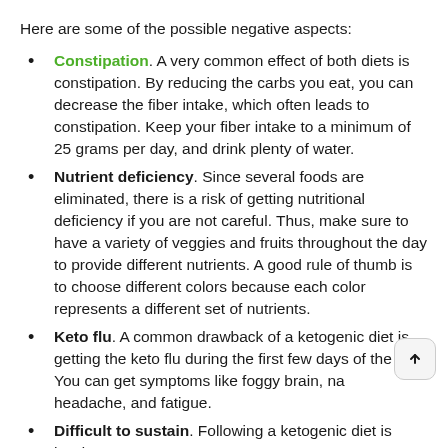Here are some of the possible negative aspects:
Constipation. A very common effect of both diets is constipation. By reducing the carbs you eat, you can decrease the fiber intake, which often leads to constipation. Keep your fiber intake to a minimum of 25 grams per day, and drink plenty of water.
Nutrient deficiency. Since several foods are eliminated, there is a risk of getting nutritional deficiency if you are not careful. Thus, make sure to have a variety of veggies and fruits throughout the day to provide different nutrients. A good rule of thumb is to choose different colors because each color represents a different set of nutrients.
Keto flu. A common drawback of a ketogenic diet is getting the keto flu during the first few days of the diet. You can get symptoms like foggy brain, nausea, headache, and fatigue.
Difficult to sustain. Following a ketogenic diet is hard.